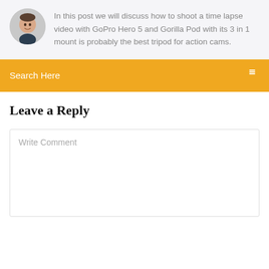[Figure (photo): Circular avatar photo of a man with short hair, wearing a dark shirt, shown from shoulders up.]
In this post we will discuss how to shoot a time lapse video with GoPro Hero 5 and Gorilla Pod with its 3 in 1 mount is probably the best tripod for action cams.
Search Here
Leave a Reply
Write Comment